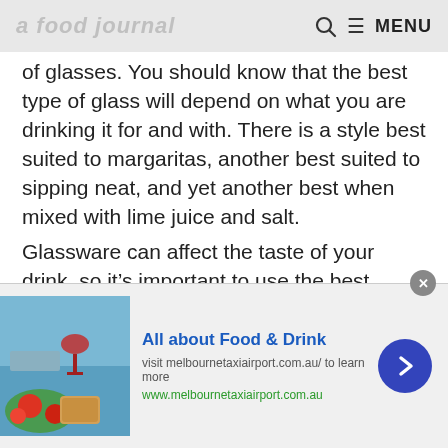[Logo] Q ≡ MENU
of glasses. You should know that the best type of glass will depend on what you are drinking it for and with. There is a style best suited to margaritas, another best suited to sipping neat, and yet another best when mixed with lime juice and salt.
Glassware can affect the taste of your drink, so it's important to use the best possible glass. The type of glass you serve your tequila in might be one of those factors that lead you to prefer one brand over another–
[Figure (screenshot): Advertisement banner: All about Food & Drink – visit melbournetaxiairport.com.au to learn more. www.melbournetaxiairport.com.au. Contains a food photo on the left and a blue arrow button on the right.]